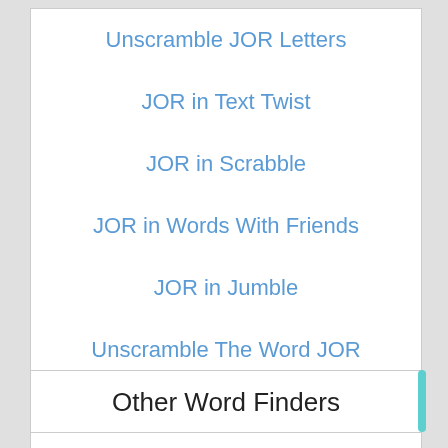Unscramble JOR Letters
JOR in Text Twist
JOR in Scrabble
JOR in Words With Friends
JOR in Jumble
Unscramble The Word JOR
Word Cookies Letters JOR
Other Word Finders